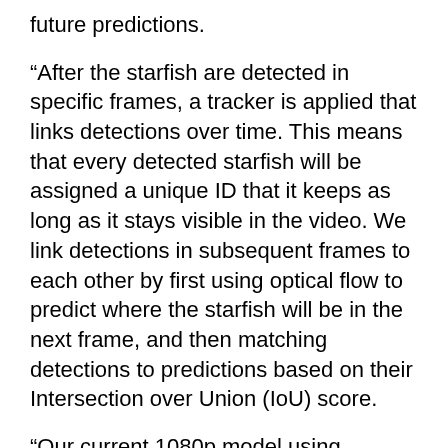future predictions.
“After the starfish are detected in specific frames, a tracker is applied that links detections over time. This means that every detected starfish will be assigned a unique ID that it keeps as long as it stays visible in the video. We link detections in subsequent frames to each other by first using optical flow to predict where the starfish will be in the next frame, and then matching detections to predictions based on their Intersection over Union (IoU) score.
“Our current 1080p model using TensorFlow TensorRT runs at 11 FPS on the Jetson AGX Xavier, reaching a sequence-based F2 score of 0.80! We additionally trained a 720p model that runs at 22 FPS on the Jetson module, with a sequence-based F2 score of 0.78,” the pair say.
Google and CSIRO have also announced they are